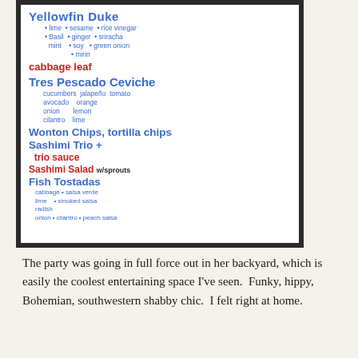[Figure (photo): Photograph of a handwritten whiteboard menu showing various dishes including Yellowfin Duke, Tres Pescado Ceviche, Wonton Chips/Tortilla Chips, Sashimi Trio, Sashimi Salad, Fish Tostadas with various accompaniments]
The party was going in full force out in her backyard, which is easily the coolest entertaining space I've seen.  Funky, hippy, Bohemian, southwestern shabby chic.  I felt right at home.